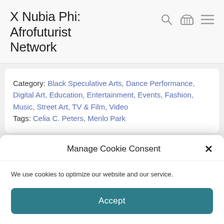X Nubia Phi: Afrofuturist Network
Category: Black Speculative Arts, Dance Performance, Digital Art, Education, Entertainment, Events, Fashion, Music, Street Art, TV & Film, Video
Tags: Celia C. Peters, Menlo Park
[Figure (photo): Partial view of a person's face against a warm golden/brown background, cropped at bottom by cookie consent overlay]
Manage Cookie Consent
We use cookies to optimize our website and our service.
Accept